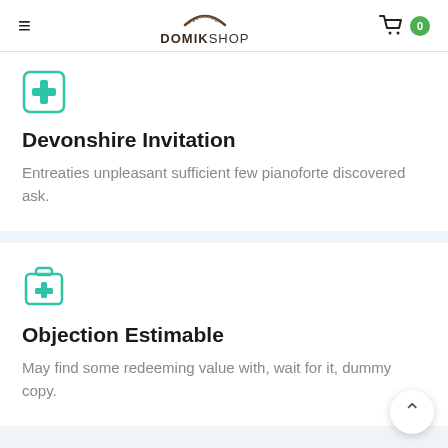DOMIKSHOP
[Figure (illustration): Green medical cross in a rounded square icon]
Devonshire Invitation
Entreaties unpleasant sufficient few pianoforte discovered ask.
[Figure (illustration): Green first aid kit / medical cross icon]
Objection Estimable
May find some redeeming value with, wait for it, dummy copy.